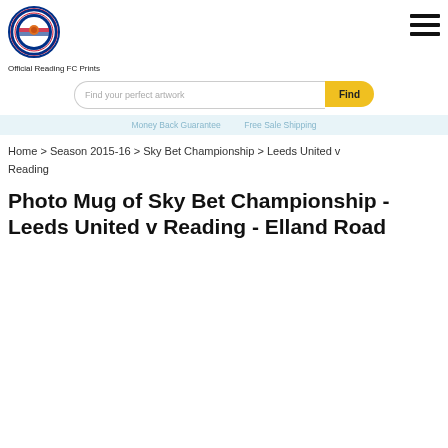[Figure (logo): Reading FC circular club crest logo]
Official Reading FC Prints
[Figure (illustration): Hamburger menu icon (three horizontal lines)]
[Figure (illustration): Search bar with input field 'Find your perfect artwork' and yellow Find button]
Money Back Guarantee   ...   Free Safe Shipping
Home > Season 2015-16 > Sky Bet Championship > Leeds United v Reading
Photo Mug of Sky Bet Championship - Leeds United v Reading - Elland Road